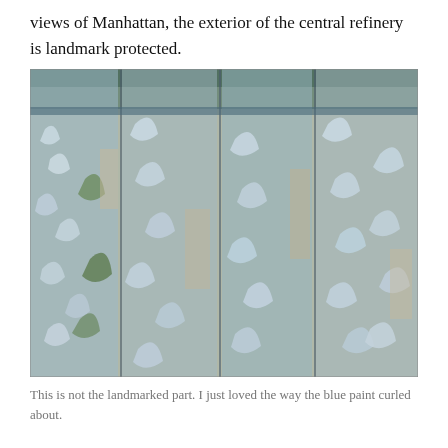views of Manhattan, the exterior of the central refinery is landmark protected.
[Figure (photo): Close-up photograph of vertical wooden planks covered in heavily peeling, curling blue paint, with patches of green and bare wood visible underneath.]
This is not the landmarked part. I just loved the way the blue paint curled about.